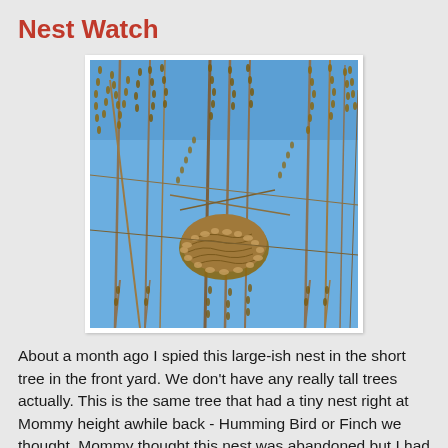Nest Watch
[Figure (photo): A bird nest nestled among dry, bare tree branches with seed clusters against a bright blue sky. The nest is large and rounded, positioned in the center-lower portion of the image.]
About a month ago I spied this large-ish nest in the short tree in the front yard. We don't have any really tall trees actually. This is the same tree that had a tiny nest right at Mommy height awhile back - Humming Bird or Finch we thought. Mommy thought this nest was abandoned but I had faith someone would use it again. Well about a week ago someone started feathering the nest - with actual feathers. I wonder who's gonna live there? I will keep my vigil and try to